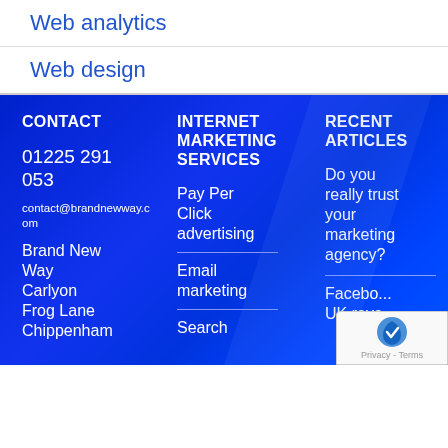Web analytics
Web design
CONTACT
01225 291 053
contact@brandnewway.com
Brand New Way Carlyon Frog Lane Chippenham
INTERNET MARKETING SERVICES
Pay Per Click advertising
Email marketing
Search
RECENT ARTICLES
Do you really trust your marketing agency?
Facebook UK reve...